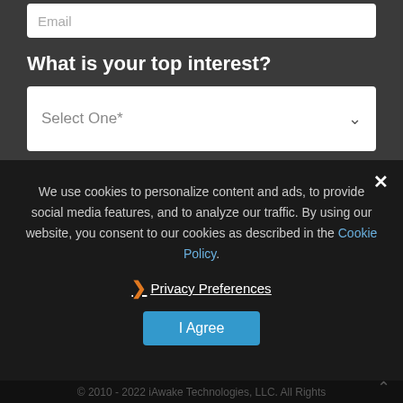Email
What is your top interest?
Select One*
By downloading, I give my consent to iAwake Technologies to send me emails containing information about new products, discounts & community news, in accordance with its Privacy Policy.
DOWNLOAD FREE MEDITATIONS
We use cookies to personalize content and ads, to provide social media features, and to analyze our traffic. By using our website, you consent to our cookies as described in the Cookie Policy.
Privacy Preferences
I Agree
© 2010 - 2022 iAwake Technologies, LLC. All Rights